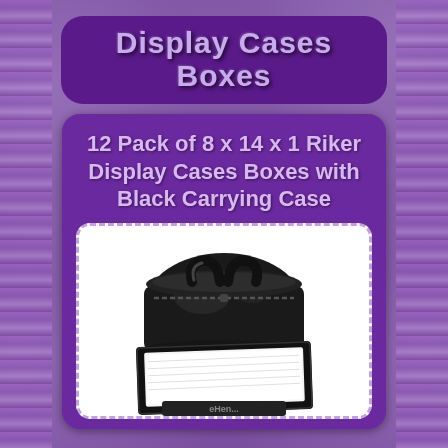Display Cases Boxes
12 Pack of 8 x 14 x 1 Riker Display Cases Boxes with Black Carrying Case
[Figure (photo): A black carrying bag with zipper closure shown above a flat rectangular riker display case with white cotton batting interior and black frame, partially visible product branding at bottom.]